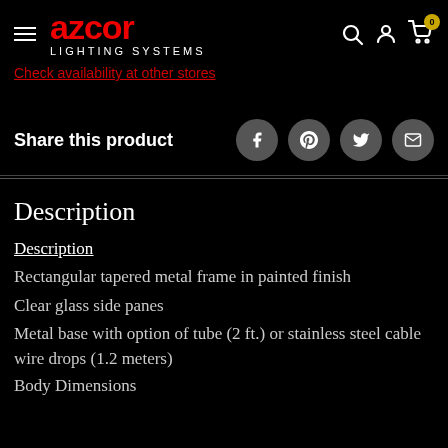azcor LIGHTING SYSTEMS
Check availability at other stores
Share this product
Description
Description
Rectangular tapered metal frame in painted finish
Clear glass side panes
Metal base with option of tube (2 ft.) or stainless steel cable wire drops (1.2 meters)
Body Dimensions